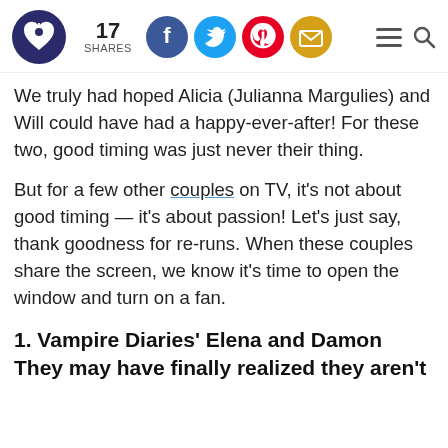17 SHARES [social icons: Facebook, Twitter, Pinterest, Email] [hamburger menu] [search]
We truly had hoped Alicia (Julianna Margulies) and Will could have had a happy-ever-after! For these two, good timing was just never their thing.
But for a few other couples on TV, it's not about good timing — it's about passion! Let's just say, thank goodness for re-runs. When these couples share the screen, we know it's time to open the window and turn on a fan.
1. Vampire Diaries' Elena and Damon They may have finally realized they aren't